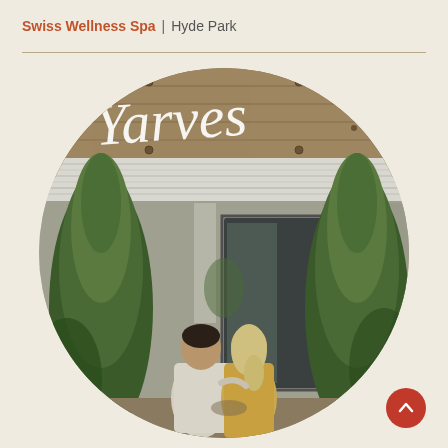Swiss Wellness Spa | Hyde Park
[Figure (photo): Circular cropped photo showing a couple standing with their backs to the camera in front of a rustic building exterior. The building has a weathered wooden sign reading 'Yarves' in white script lettering, corrugated white metal roofing, grey walls, and tall green cypress/pencil pine trees on either side. The couple are casually dressed, the man in a light shirt and the woman in a golden/tan outfit.]